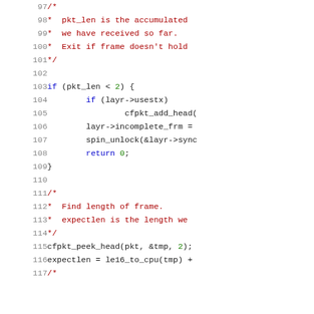Source code listing lines 97-117, showing C code with comments and conditionals: pkt_len check, frame handling, cfpkt_peek_head, expectlen calculation.